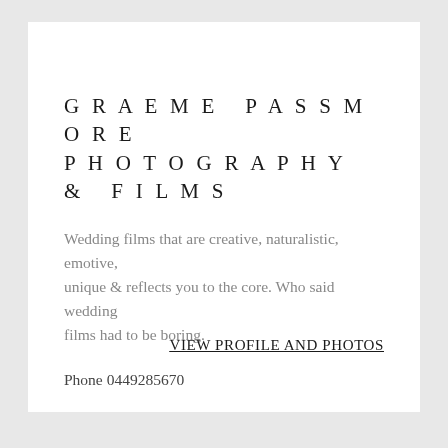GRAEME PASSMORE PHOTOGRAPHY & FILMS
Wedding films that are creative, naturalistic, emotive, unique & reflects you to the core. Who said wedding films had to be boring.
Phone 0449285670
VIEW PROFILE AND PHOTOS